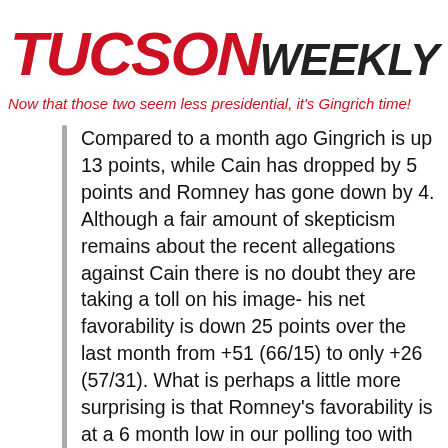TUCSON WEEKLY
Now that those two seem less presidential, it's Gingrich time!
Compared to a month ago Gingrich is up 13 points, while Cain has dropped by 5 points and Romney has gone down by 4. Although a fair amount of skepticism remains about the recent allegations against Cain there is no doubt they are taking a toll on his image- his net favorability is down 25 points over the last month from +51 (66/15) to only +26 (57/31). What is perhaps a little more surprising is that Romney's favorability is at a 6 month low in our polling too with only 48% of voters seeing him favorably to 39% with a negative